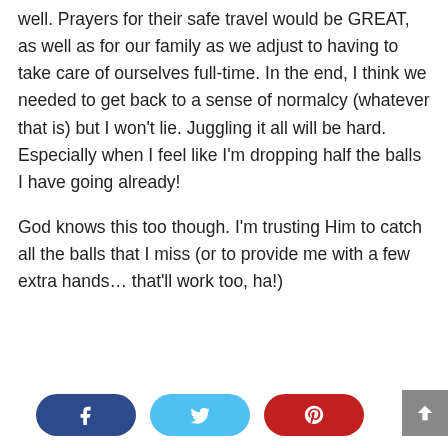well. Prayers for their safe travel would be GREAT, as well as for our family as we adjust to having to take care of ourselves full-time. In the end, I think we needed to get back to a sense of normalcy (whatever that is) but I won't lie. Juggling it all will be hard. Especially when I feel like I'm dropping half the balls I have going already!
God knows this too though. I'm trusting Him to catch all the balls that I miss (or to provide me with a few extra hands… that'll work too, ha!)
[Figure (other): Social sharing buttons: Facebook (dark blue), Twitter (light blue), Pinterest (red), and a scroll-to-top button (gray)]